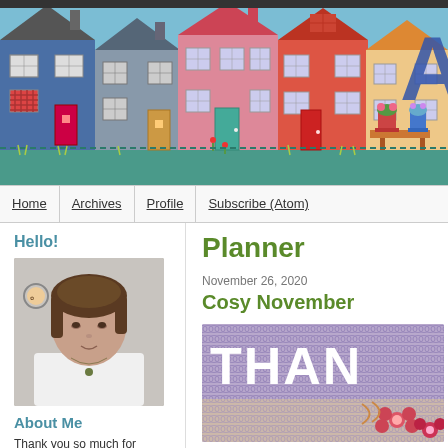[Figure (illustration): Colourful fabric/textile artwork banner showing a row of patchwork houses in blue, grey, pink, red, orange colours with windows and doors, on a teal/blue sky background, with a large blue letter 'A' partially visible on the right.]
Home | Archives | Profile | Subscribe (Atom)
Hello!
[Figure (photo): Portrait photo of a woman with shoulder-length brown hair, wearing a white top and a green pendant necklace, standing in front of a light grey wall with a small embroidery hoop visible in the background.]
About Me
Thank you so much for visiting
Planner
November 26, 2020
Cosy November
[Figure (photo): Close-up photo of purple/lavender crochet texture with white 3D letters spelling 'THAN' visible (part of 'THANK YOU'), with pink crochet flowers in the bottom right corner.]